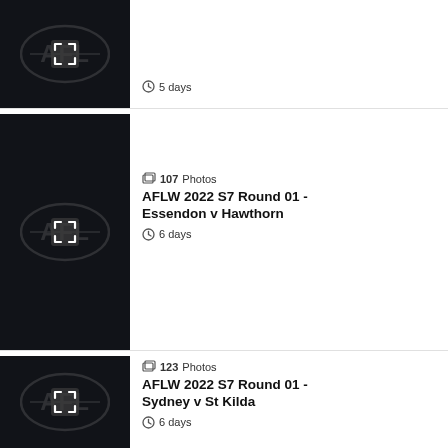[Figure (screenshot): AFL dark thumbnail image with AFL logo watermark and expand arrows icon, partial top row]
5 days
[Figure (screenshot): AFL dark thumbnail image with AFL logo watermark and expand arrows icon]
107 Photos
AFLW 2022 S7 Round 01 - Essendon v Hawthorn
6 days
[Figure (screenshot): AFL dark thumbnail image with AFL logo watermark and expand arrows icon, partial bottom row]
123 Photos
AFLW 2022 S7 Round 01 - Sydney v St Kilda
6 days